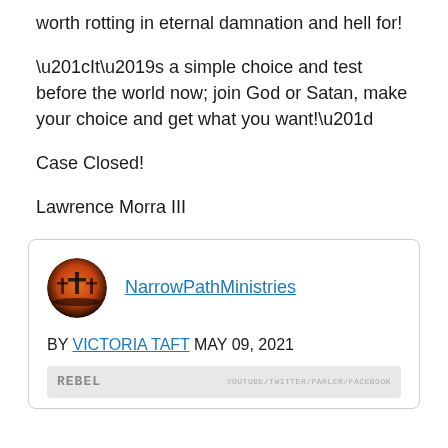worth rotting in eternal damnation and hell for!
“It’s a simple choice and test before the world now; join God or Satan, make your choice and get what you want!”
Case Closed!
Lawrence Morra III
NarrowPathMinistries
BY VICTORIA TAFT MAY 09, 2021
[Figure (screenshot): Rebel media bar at the bottom of the embedded card]